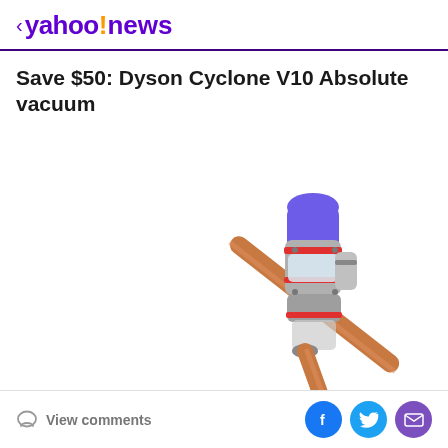< yahoo!news
Save $50: Dyson Cyclone V10 Absolute vacuum
[Figure (photo): Dyson Cyclone V10 Absolute cordless vacuum cleaner shown at an angle, with copper/orange wand, silver and red body, and purple motor head]
View comments
[Figure (other): Social sharing icons: Facebook (blue circle), Twitter (light blue circle), Email/envelope (purple circle)]